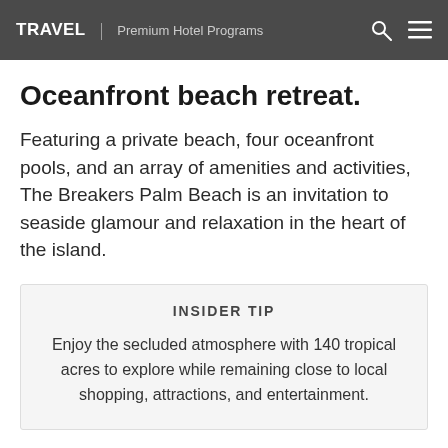TRAVEL | Premium Hotel Programs
Oceanfront beach retreat.
Featuring a private beach, four oceanfront pools, and an array of amenities and activities, The Breakers Palm Beach is an invitation to seaside glamour and relaxation in the heart of the island.
INSIDER TIP
Enjoy the secluded atmosphere with 140 tropical acres to explore while remaining close to local shopping, attractions, and entertainment.